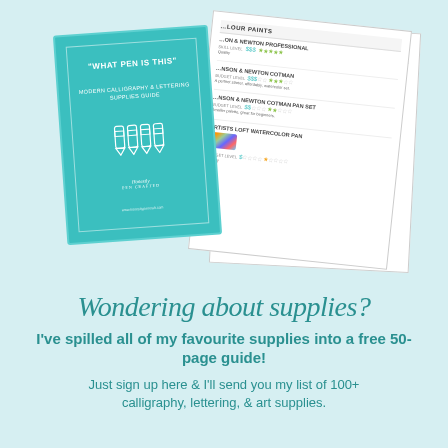[Figure (illustration): Mockup of a calligraphy and lettering supplies guide booklet - a teal book cover reading 'What Pen Is This? Modern Calligraphy & Lettering Supplies Guide' with white pen/marker icons, displayed alongside scattered white pages showing watercolour paint reviews with star ratings and dollar signs.]
Wondering about supplies?
I've spilled all of my favourite supplies into a free 50-page guide!
Just sign up here & I'll send you my list of 100+ calligraphy, lettering, & art supplies.